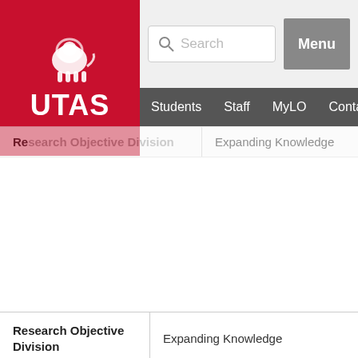[Figure (logo): University of Tasmania (UTAS) red logo with lion emblem]
Search | Menu | Students | Staff | MyLO | Contacts
| Field | Value |
| --- | --- |
| Research Objective Division | Expanding Knowledge |
| Research Objective Group | Expanding knowledge |
| Research Objective Field | Expanding knowledge in the physio... |
| Visit Item on eCite | http://ecite.utas.edu.au/45340 |
| Digital Object Identifier | doi:10.1086/508406 |
| Scopus Source URL | View the full record on Scopus |
| Scopus Citing URL | View the list of citing articles on Sco... |
| Web of Science® Source URL | View the full record on Web of Scie... |
| Web of Science® Citing URL | View the list of citing articles on We... |
| Web of Science® Related URL | View the list of related articles on W... |